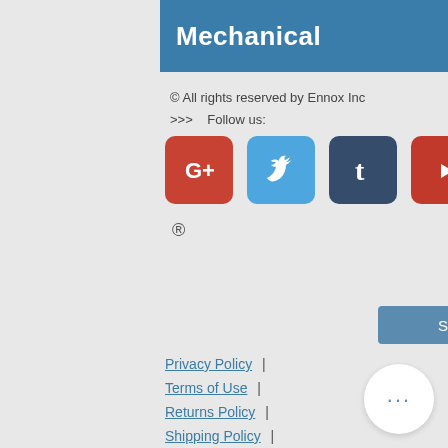Mechanical
© All rights reserved by Ennox Inc
>>> Follow us:
[Figure (illustration): Four social media icons: Google+, Twitter, Tumblr, YouTube]
®
Share
Privacy Policy  |
Terms of Use  |
Returns Policy  |
Shipping Policy  |
[Figure (other): A circular button with three horizontal dots (more options button)]